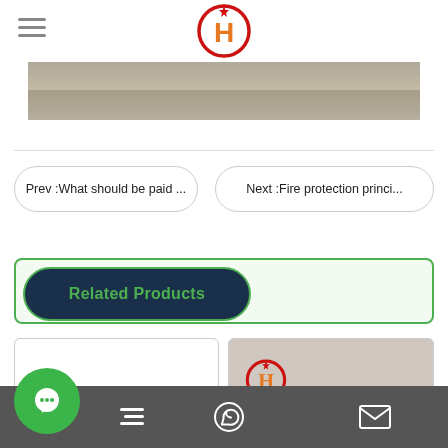[Figure (logo): Company logo: red circle with orange H letter and star on top]
[Figure (photo): Photo strip showing people's legs/feet on a tiled floor]
Prev :What should be paid ...
Next :Fire protection princi...
Related Products
[Figure (photo): Product card left - empty white card]
[Figure (photo): Product card right - showing company logo on cardboard]
[Figure (other): Bottom toolbar with chat bubble (green circle), text icon, WhatsApp icon, and email/envelope icon]